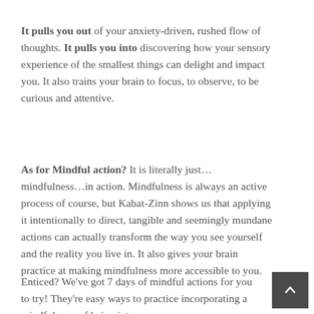It pulls you out of your anxiety-driven, rushed flow of thoughts. It pulls you into discovering how your sensory experience of the smallest things can delight and impact you. It also trains your brain to focus, to observe, to be curious and attentive.
As for Mindful action? It is literally just…mindfulness…in action. Mindfulness is always an active process of course, but Kabat-Zinn shows us that applying it intentionally to direct, tangible and seemingly mundane actions can actually transform the way you see yourself and the reality you live in. It also gives your brain practice at making mindfulness more accessible to you.
Enticed? We've got 7 days of mindful actions for you to try! They're easy ways to practice incorporating a mindful way of being into your